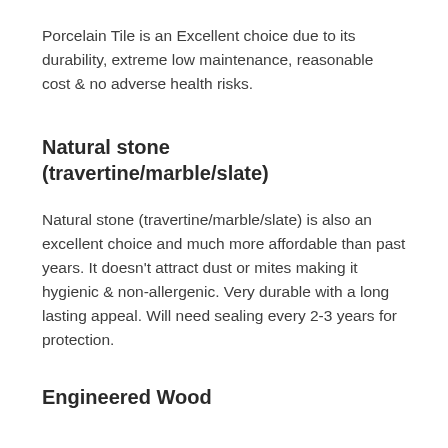Porcelain Tile is an Excellent choice due to its durability, extreme low maintenance, reasonable cost & no adverse health risks.
Natural stone (travertine/marble/slate)
Natural stone (travertine/marble/slate) is also an excellent choice and much more affordable than past years. It doesn't attract dust or mites making it hygienic & non-allergenic. Very durable with a long lasting appeal. Will need sealing every 2-3 years for protection.
Engineered Wood